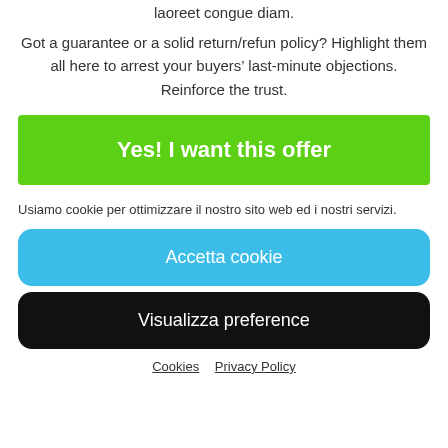laoreet congue diam.
Got a guarantee or a solid return/refun policy? Highlight them all here to arrest your buyers’ last-minute objections. Reinforce the trust.
[Figure (other): Green call-to-action button with white bold text: Yes! I want this offer]
Usiamo cookie per ottimizzare il nostro sito web ed i nostri servizi.
[Figure (other): Blue rounded button with white text: Accetta cookie]
[Figure (other): Black rounded button with white text: Visualizza preference]
Cookies   Privacy Policy